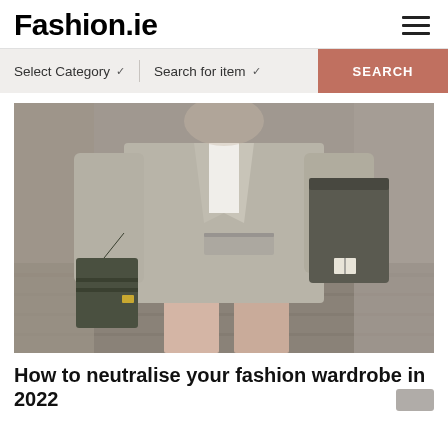Fashion.ie
[Figure (screenshot): Search bar with 'Select Category' dropdown, 'Search for item' dropdown, and a salmon-colored SEARCH button]
[Figure (photo): Street style photo of a person wearing an oversized grey/beige blazer, holding a small dark olive green crossbody bag, with a large tote bag over the opposite shoulder, wearing light pink/blush trousers]
How to neutralise your fashion wardrobe in 2022